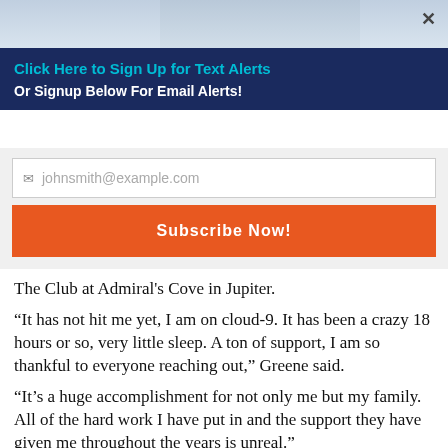[Figure (photo): Partial photo strip showing a person, cropped at top]
Click Here to Sign Up for Text Alerts
Or Signup Below For Email Alerts!
johnsmith@example.com (email input placeholder)
Subscribe Now!
The Club at Admiral's Cove in Jupiter.
“It has not hit me yet, I am on cloud-9. It has been a crazy 18 hours or so, very little sleep. A ton of support, I am so thankful to everyone reaching out,” Greene said.
“It’s a huge accomplishment for not only me but my family. All of the hard work I have put in and the support they have given me throughout the years is unreal.”
The DeBary, Florida, resident shot a 4-under par 68 in the final round to claim the top four spot to qualify for the U.S. Open.
“It just goes back to my college days and I have always thought I